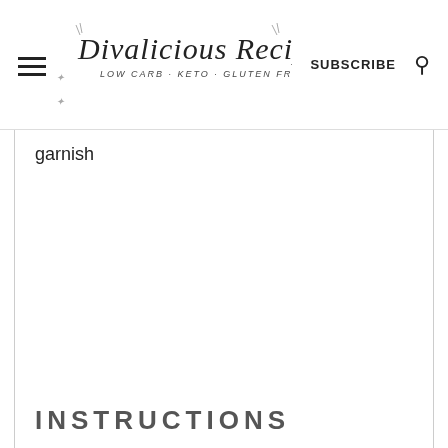Divalicious Recipes LOW CARB - KETO - GLUTEN FREE | SUBSCRIBE
garnish
INSTRUCTIONS